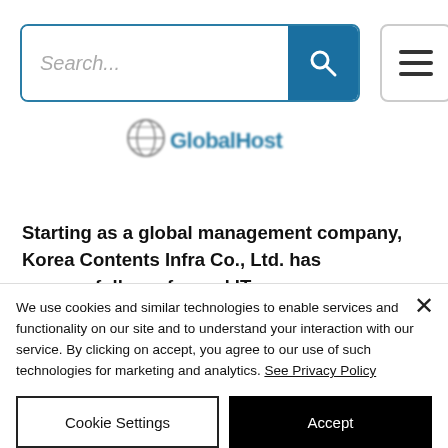[Figure (screenshot): Search bar with teal/blue search button showing magnifying glass icon, and hamburger menu button to the right]
[Figure (logo): GlobalHost company logo with globe icon, text blurred/redacted]
Starting as a global management company, Korea Contents Infra Co., Ltd. has successfully performed IT
We use cookies and similar technologies to enable services and functionality on our site and to understand your interaction with our service. By clicking on accept, you agree to our use of such technologies for marketing and analytics. See Privacy Policy
Cookie Settings
Accept